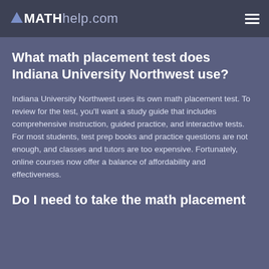MATHhelp.com
What math placement test does Indiana University Northwest use?
Indiana University Northwest uses its own math placement test. To review for the test, you'll want a study guide that includes comprehensive instruction, guided practice, and interactive tests. For most students, test prep books and practice questions are not enough, and classes and tutors are too expensive. Fortunately, online courses now offer a balance of affordability and effectiveness.
Do I need to take the math placement